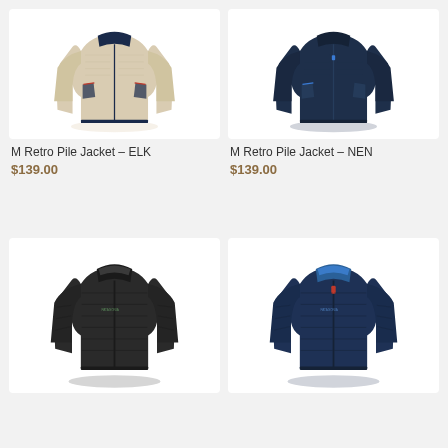[Figure (photo): M Retro Pile Jacket in beige/tan (ELK colorway) on white background]
M Retro Pile Jacket - ELK
$139.00
[Figure (photo): M Retro Pile Jacket in dark navy (NEN colorway) on white background]
M Retro Pile Jacket - NEN
$139.00
[Figure (photo): Black quilted jacket on white background]
[Figure (photo): Navy blue quilted jacket with blue collar lining and red zipper pull on white background]